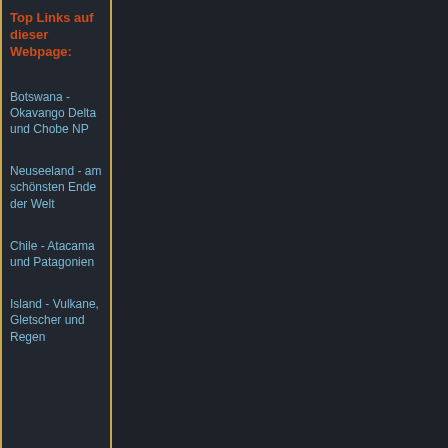Top Links auf dieser Webpage:
Botswana - Okavango Delta und Chobe NP
Neuseeland - am schönsten Ende der Welt
Chile - Atacama und Patagonien
Island - Vulkane, Gletscher und Regen